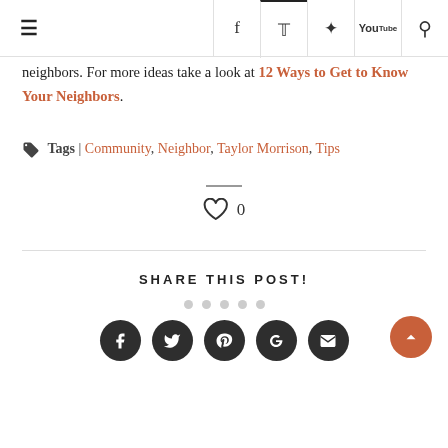≡ [navigation bar with hamburger menu and social icons: f, twitter, pinterest, youtube, search]
neighbors. For more ideas take a look at 12 Ways to Get to Know Your Neighbors.
Tags | Community, Neighbor, Taylor Morrison, Tips
[Figure (illustration): Horizontal divider line]
[Figure (illustration): Heart icon with like count 0]
[Figure (illustration): Horizontal rule separator]
SHARE THIS POST!
[Figure (illustration): Five grey dots pagination indicators]
[Figure (illustration): Social sharing buttons: Facebook, Twitter, Pinterest, Google+, Email; and orange back-to-top button]